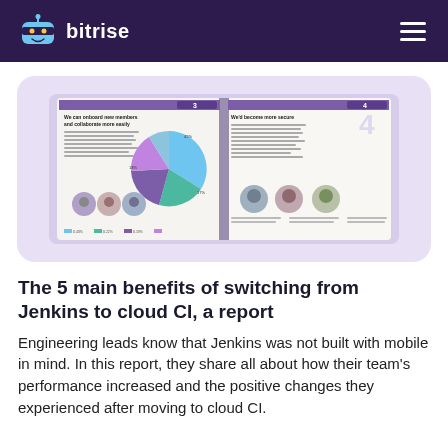bitrise
[Figure (photo): Open report booklet showing infographic pages with pie chart, testimonial photos, and statistics about switching from Jenkins to cloud CI]
The 5 main benefits of switching from Jenkins to cloud CI, a report
Engineering leads know that Jenkins was not built with mobile in mind. In this report, they share all about how their team's performance increased and the positive changes they experienced after moving to cloud CI.